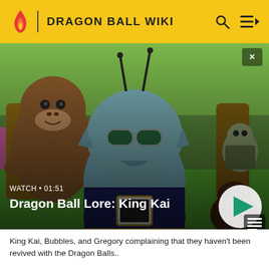DRAGON BALL WIKI
[Figure (screenshot): Anime screenshot showing King Kai (a blue round insect-like creature with antennae and glasses), Bubbles (a monkey), and Gregory (a small cricket-like creature) from Dragon Ball Z/Super. The scene shows them outdoors on a planet with green ground and trees. A play button overlay is visible at bottom right.]
WATCH • 01:51
Dragon Ball Lore: King Kai
King Kai, Bubbles, and Gregory complaining that they haven't been revived with the Dragon Balls..